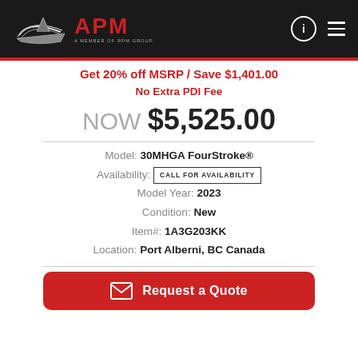APM - A Member of RPM Group
Get 20% off MSRP / Save $1,401.00
No Extra PDI Fee
NOW $5,525.00
Model: 30MHGA FourStroke®
Availability: CALL FOR AVAILABILITY
Model Year: 2023
Condition: New
Item#: 1A3G203KK
Location: Port Alberni, BC Canada
Request a Quote